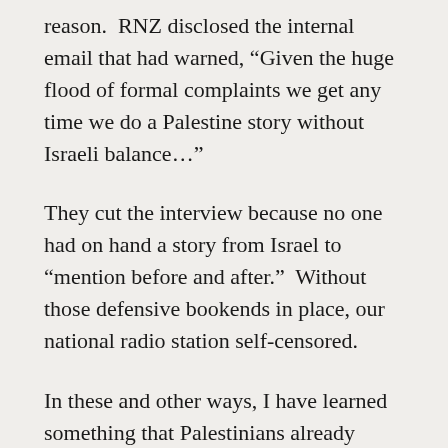reason.  RNZ disclosed the internal email that had warned, “Given the huge flood of formal complaints we get any time we do a Palestine story without Israeli balance…”
They cut the interview because no one had on hand a story from Israel to “mention before and after.”  Without those defensive bookends in place, our national radio station self-censored.
In these and other ways, I have learned something that Palestinians already know: this has become an identity campaign of erasure.  Erasure makes others – not the substance of any issue – the object of its attack.  A campaign